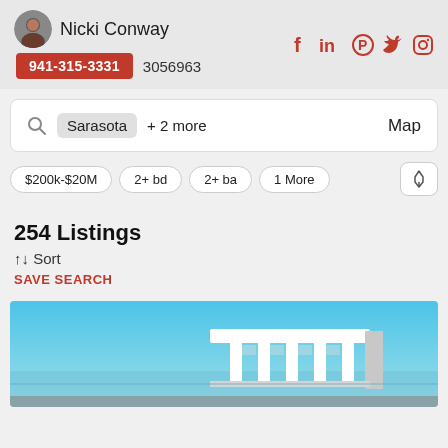Nicki Conway 941-315-3331 3056963
Sarasota + 2 more Map
$200k-$20M  2+ bd  2+ ba  1 More
254 Listings
↑↓ Sort
SAVE SEARCH
[Figure (photo): Exterior photo of a modern white building with columns against a blue sky, waterfront scene, partial view]